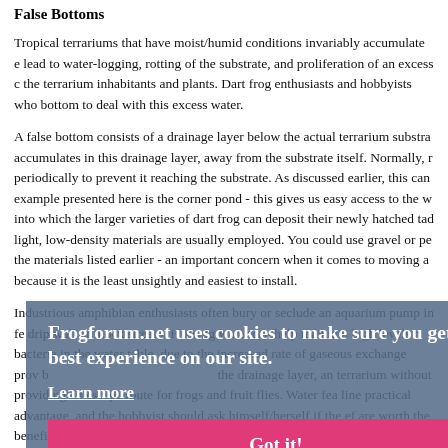False Bottoms
Tropical terrariums that have moist/humid conditions invariably accumulate e lead to water-logging, rotting of the substrate, and proliferation of an excess c the terrarium inhabitants and plants. Dart frog enthusiasts and hobbyists who bottom to deal with this excess water.
A false bottom consists of a drainage layer below the actual terrarium substra accumulates in this drainage layer, away from the substrate itself. Normally, r periodically to prevent it reaching the substrate. As discussed earlier, this can example presented here is the corner pond - this gives us easy access to the w into which the larger varieties of dart frog can deposit their newly hatched tad light, low-density materials are usually employed. You could use gravel or pe the materials listed earlier - an important concern when it comes to moving a because it is the least unsightly and easiest to install.
Industrious amphibian enthusiasts often bury or seclude an aquarium pump in fe drip wall or mock stream. Flowing water can help maintain high levels c bacteria in the water table, due to the increased rate of gaseous exchange prov b the drainage layer, an terrarium without providing an escape route for frogs and fruit flies. Water fea line practical advantage, and the hobbyist should ask himself/herself if the ef are worth the benefits.
Construction
Here is a pictorial guide to building a basic dart frog terrarium, minus backgro terrarium pictured is a replica of how I maintain and breed Dendrobates tin